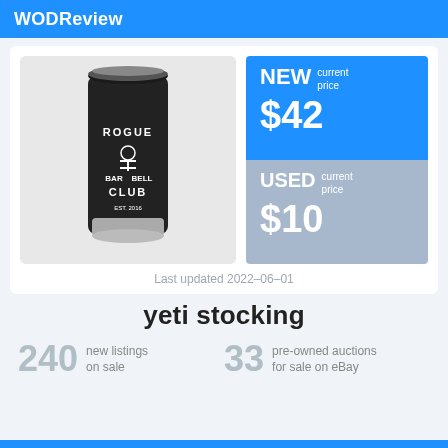WODReview
[Figure (photo): Black Rogue Barbell Club branded tumbler/cup with stainless steel bottom and clear lid]
NEW current price $42
USED current price $10
Last updated 2022-06-01
yeti stocking
240 new listings on sale
33 pre-owned auctions for sale on eBay